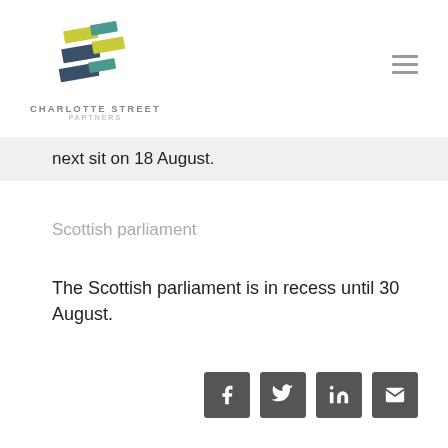[Figure (logo): Charlotte Street Partners logo — geometric interlocking shapes in yellow-green, teal, and dark blue-grey, with text CHARLOTTE STREET PARTNERS below]
next sit on 18 August.
Scottish parliament
The Scottish parliament is in recess until 30 August.